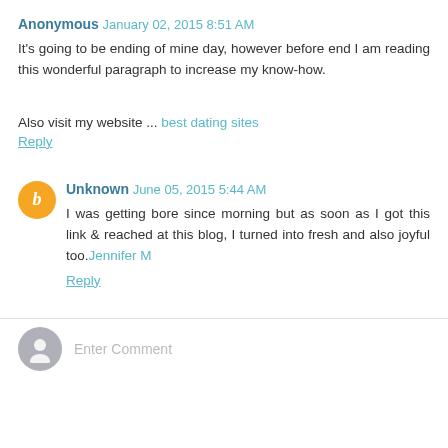Anonymous January 02, 2015 8:51 AM
It's going to be ending of mine day, however before end I am reading this wonderful paragraph to increase my know-how.
Also visit my website ... best dating sites
Reply
Unknown June 05, 2015 5:44 AM
I was getting bore since morning but as soon as I got this link & reached at this blog, I turned into fresh and also joyful too.Jennifer M
Reply
Enter Comment